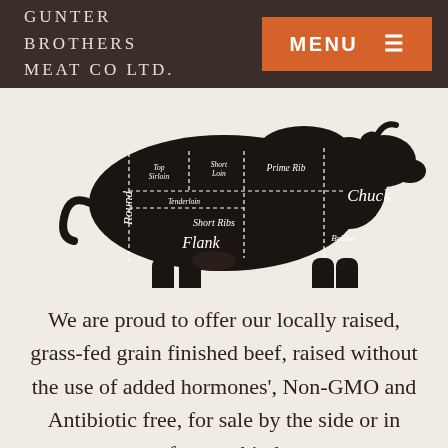GUNTER BROTHERS MEAT CO LTD.
[Figure (illustration): Black silhouette of a cow with labeled beef cuts marked by dashed lines: Round (left side, vertical text), Top Sirloin, Short Loin, Tenderloin, Prime Rib, Chuck (large label on right), Short Ribs (center), Flank (lower center), Brisket (lower right)]
We are proud to offer our locally raised, grass-fed grain finished beef, raised without the use of added hormones', Non-GMO and Antibiotic free, for sale by the side or in front or hind